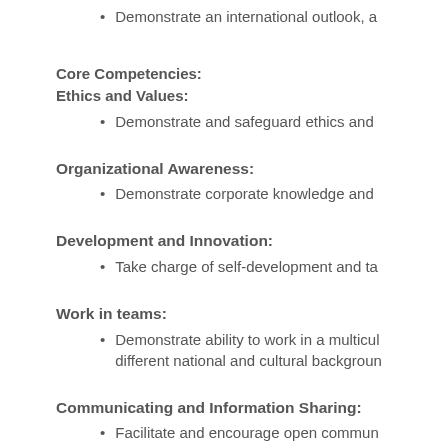Demonstrate an international outlook, a
Core Competencies:
Ethics and Values:
Demonstrate and safeguard ethics and
Organizational Awareness:
Demonstrate corporate knowledge and
Development and Innovation:
Take charge of self-development and ta
Work in teams:
Demonstrate ability to work in a multicul different national and cultural backgroun
Communicating and Information Sharing:
Facilitate and encourage open commun
Self-management and Emotional Intelligence